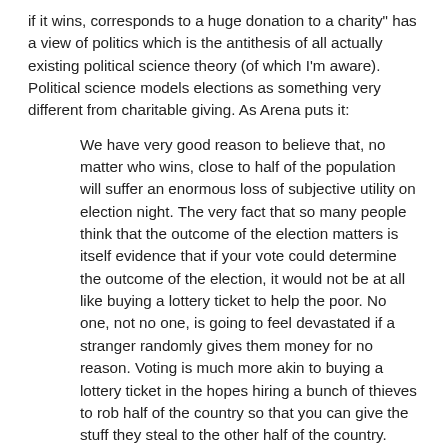if it wins, corresponds to a huge donation to a charity" has a view of politics which is the antithesis of all actually existing political science theory (of which I'm aware). Political science models elections as something very different from charitable giving. As Arena puts it:
We have very good reason to believe that, no matter who wins, close to half of the population will suffer an enormous loss of subjective utility on election night. The very fact that so many people think that the outcome of the election matters is itself evidence that if your vote could determine the outcome of the election, it would not be at all like buying a lottery ticket to help the poor. No one, not no one, is going to feel devastated if a stranger randomly gives them money for no reason. Voting is much more akin to buying a lottery ticket in the hopes hiring a bunch of thieves to rob half of the country so that you can give the stuff they steal to the other half of the country.
Perhaps the reader will find the last line a little too folksy thinking